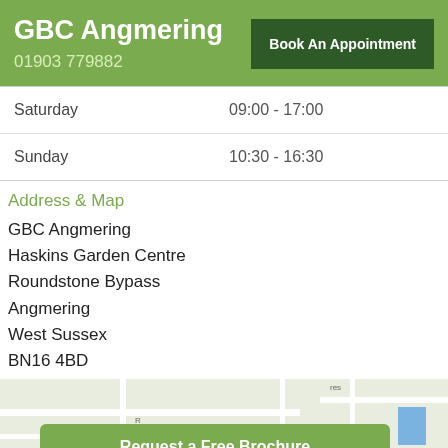GBC Angmering
01903 779882
Book An Appointment
| Saturday | 09:00 - 17:00 |
| Sunday | 10:30 - 16:30 |
Address & Map
GBC Angmering
Haskins Garden Centre
Roundstone Bypass
Angmering
West Sussex
BN16 4BD
[Figure (map): Street map showing location of GBC Angmering with a blue building marker]
Request a Free Brochure